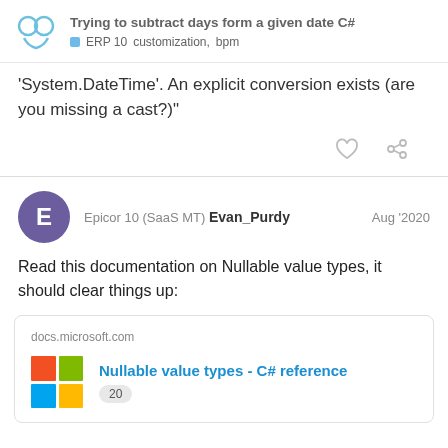Trying to subtract days form a given date C# | ERP 10 customization, bpm
'System.DateTime'. An explicit conversion exists (are you missing a cast?)"
Epicor 10 (SaaS MT) Evan_Purdy  Aug '2020
Read this documentation on Nullable value types, it should clear things up:
docs.microsoft.com
Nullable value types - C# reference
20